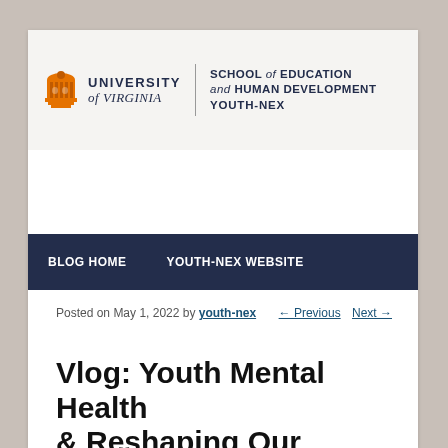[Figure (logo): University of Virginia School of Education and Human Development Youth-Nex logo with orange rotunda icon]
BLOG HOME   YOUTH-NEX WEBSITE
Posted on May 1, 2022 by youth-nex
← Previous   Next →
Vlog: Youth Mental Health & Reshaping Our Culture